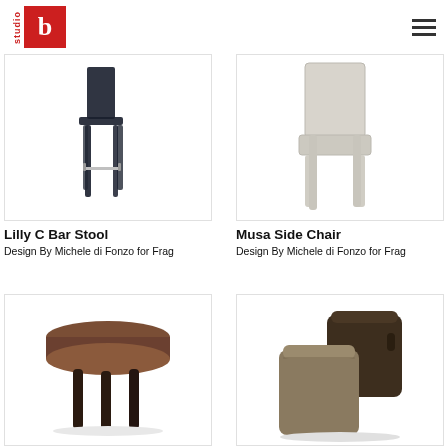studio b logo and navigation
[Figure (photo): Lilly C Bar Stool — dark navy leather bar stool with metal footrest, side view]
Lilly C Bar Stool
Design By Michele di Fonzo for Frag
[Figure (photo): Musa Side Chair — light grey/cream upholstered side chair, angled rear view]
Musa Side Chair
Design By Michele di Fonzo for Frag
[Figure (photo): Round brown leather cushioned stool with dark wooden legs]
[Figure (photo): Two leather poufs/ottomans in taupe and dark brown stacked together]